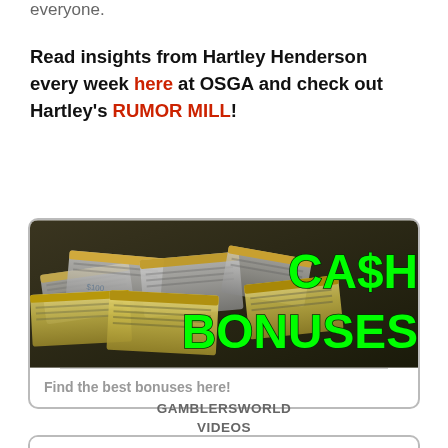everyone.
Read insights from Hartley Henderson every week here at OSGA and check out Hartley's RUMOR MILL!
[Figure (illustration): Advertisement banner showing stacks of US dollar bills with green text reading 'CA$H BONUSES' overlaid on the right side]
Find the best bonuses here!
GAMBLERSWORLD VIDEOS
[Figure (logo): Partial gamblersworld logo showing 'gambl' in blue bold text]
Send a message to OSGA!